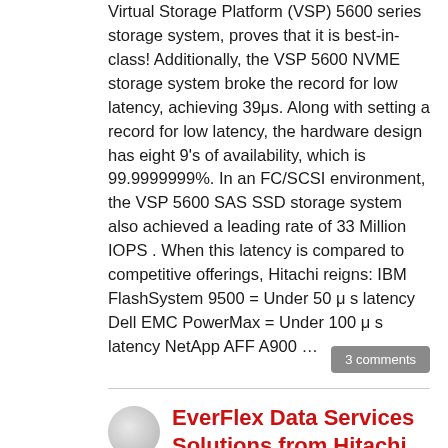Virtual Storage Platform (VSP) 5600 series storage system, proves that it is best-in-class! Additionally, the VSP 5600 NVME storage system broke the record for low latency, achieving 39μs. Along with setting a record for low latency, the hardware design has eight 9's of availability, which is 99.9999999%. In an FC/SCSI environment, the VSP 5600 SAS SSD storage system also achieved a leading rate of 33 Million IOPS . When this latency is compared to competitive offerings, Hitachi reigns: IBM FlashSystem 9500 = Under 50 μ s latency Dell EMC PowerMax = Under 100 μ s latency NetApp AFF A900 …
3 comments
EverFlex Data Services Solutions from Hitachi Vantara